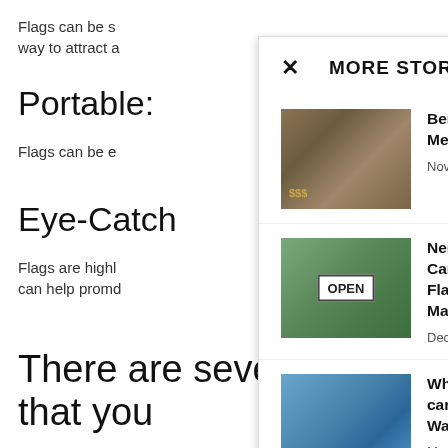Flags can be s
way to attract a
Portable:
Flags can be e
Eye-Catch
Flags are highl
can help promd
How to U
There are several ways that you
[Figure (screenshot): Modal overlay panel titled MORE STORIES with an X close button, showing three story items each with a thumbnail image, headline, and date. Stories: 'Benefits of Becoming a Member of the Sqm Club' (November 23, 2021), 'Neighbourhood Canvassing with Custom Flags – An Effective Marketing Strategy' (December 10, 2021), 'When Choosing an Exotic car Rental in New Jersey Watch Out...' (March 19, 2022).]